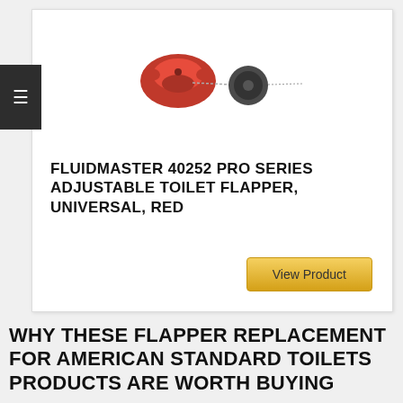[Figure (photo): Fluidmaster 40252 Pro Series Adjustable Toilet Flapper product photo showing red flapper mechanism with chain and rubber stopper disc]
FLUIDMASTER 40252 PRO SERIES ADJUSTABLE TOILET FLAPPER, UNIVERSAL, RED
View Product
WHY THESE FLAPPER REPLACEMENT FOR AMERICAN STANDARD TOILETS PRODUCTS ARE WORTH BUYING